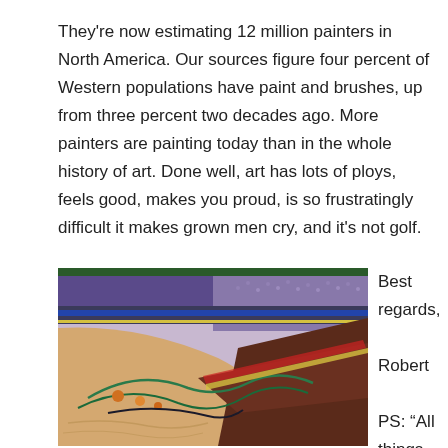They're now estimating 12 million painters in North America. Our sources figure four percent of Western populations have paint and brushes, up from three percent two decades ago. More painters are painting today than in the whole history of art. Done well, art has lots of ploys, feels good, makes you proud, is so frustratingly difficult it makes grown men cry, and it's not golf.
[Figure (illustration): Abstract painting showing an aerial or surreal landscape with geometric shapes, colorful lines (blue, green, red, yellow), warm sandy tones in the foreground, dark brown diagonal shapes, and textured patterns suggesting a crowd or terrain in the background.]
Best regards,

Robert

PS: “All things you see